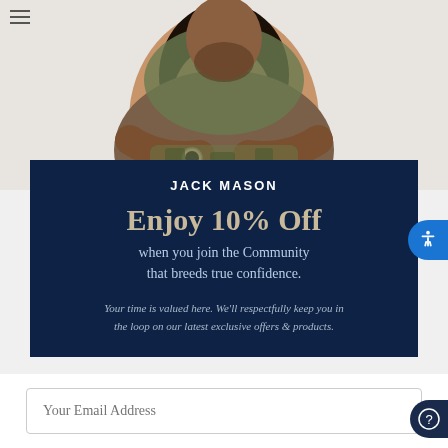[Figure (photo): A couple embracing and smiling. A woman with dark hair is smiling broadly, wearing camouflage, while a man hugs her from behind. He is wearing a watch.]
JACK MASON
Enjoy 10% Off
when you join the Community that breeds true confidence.
Your time is valued here. We'll respectfully keep you in the loop on our latest exclusive offers & products.
Your Email Address